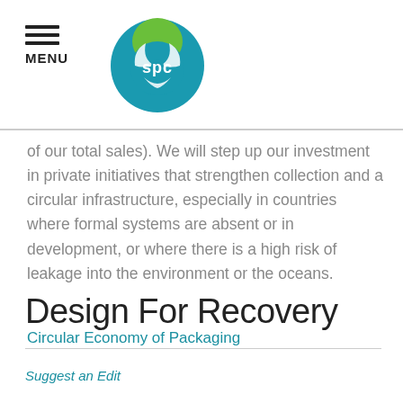MENU | SPC logo
of our total sales). We will step up our investment in private initiatives that strengthen collection and a circular infrastructure, especially in countries where formal systems are absent or in development, or where there is a high risk of leakage into the environment or the oceans.
Circular Economy of Packaging
Design For Recovery
Suggest an Edit